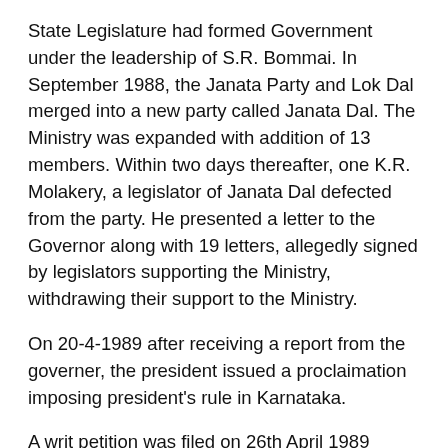State Legislature had formed Government under the leadership of S.R. Bommai. In September 1988, the Janata Party and Lok Dal merged into a new party called Janata Dal. The Ministry was expanded with addition of 13 members. Within two days thereafter, one K.R. Molakery, a legislator of Janata Dal defected from the party. He presented a letter to the Governor along with 19 letters, allegedly signed by legislators supporting the Ministry, withdrawing their support to the Ministry.
On 20-4-1989 after receiving a report from the governer, the president issued a proclaimation imposing president's rule in Karnataka.
A writ petition was filed on 26th April 1989 challenging the validity of the proclamation. A special bench of 3 judges of Karnataka High Court dismissed the writ petition.  Finally this petition alongwith similar cases related to dismissal of governments in Meghalaya, Manipur, Madhya Pradesh, Rajasthan and...